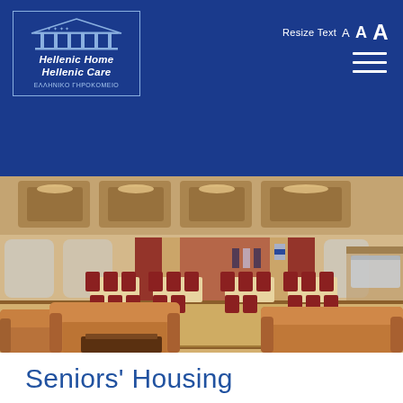Hellenic Home Hellenic Care — EΛΛHNIKO ΓHPOKOMEIO — Resize Text A A A
[Figure (photo): Interior photo of a large dining/common room at Hellenic Home Hellenic Care, showing leather armchairs in the foreground, dining tables with red chairs, a stage area in the background with red curtains and display figures in traditional Greek dress, coffered wood ceiling, and a service counter/cafeteria on the right side.]
Seniors’ Housing